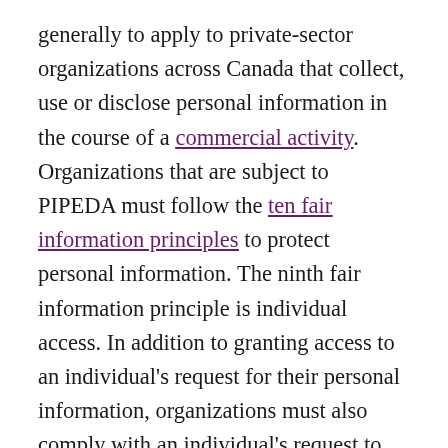generally to apply to private-sector organizations across Canada that collect, use or disclose personal information in the course of a commercial activity. Organizations that are subject to PIPEDA must follow the ten fair information principles to protect personal information. The ninth fair information principle is individual access. In addition to granting access to an individual's request for their personal information, organizations must also comply with an individual's request to challenge the accuracy and completeness of the information and have it amended as